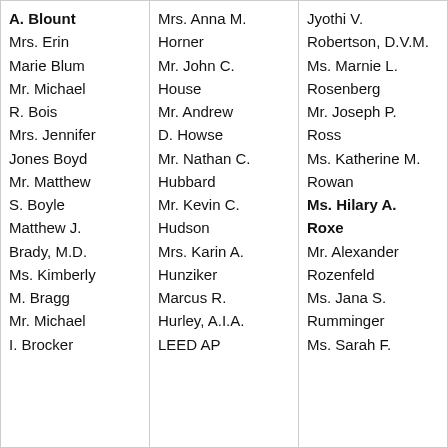A. Blount
Mrs. Erin
Marie Blum
Mr. Michael
R. Bois
Mrs. Jennifer
Jones Boyd
Mr. Matthew
S. Boyle
Matthew J.
Brady, M.D.
Ms. Kimberly
M. Bragg
Mr. Michael
I. Brocker
Mrs. Anna M.
Horner
Mr. John C.
House
Mr. Andrew
D. Howse
Mr. Nathan C.
Hubbard
Mr. Kevin C.
Hudson
Mrs. Karin A.
Hunziker
Marcus R.
Hurley, A.I.A.
LEED AP
Jyothi V.
Robertson, D.V.M.
Ms. Marnie L.
Rosenberg
Mr. Joseph P.
Ross
Ms. Katherine M.
Rowan
Ms. Hilary A.
Roxe
Mr. Alexander
Rozenfeld
Ms. Jana S.
Rumminger
Ms. Sarah F.